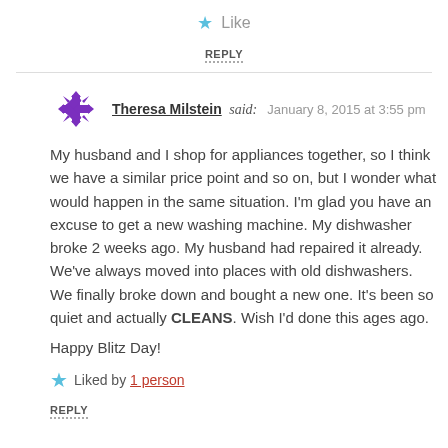★ Like
REPLY
Theresa Milstein said: January 8, 2015 at 3:55 pm
My husband and I shop for appliances together, so I think we have a similar price point and so on, but I wonder what would happen in the same situation. I'm glad you have an excuse to get a new washing machine. My dishwasher broke 2 weeks ago. My husband had repaired it already. We've always moved into places with old dishwashers. We finally broke down and bought a new one. It's been so quiet and actually CLEANS. Wish I'd done this ages ago.
Happy Blitz Day!
Liked by 1 person
REPLY